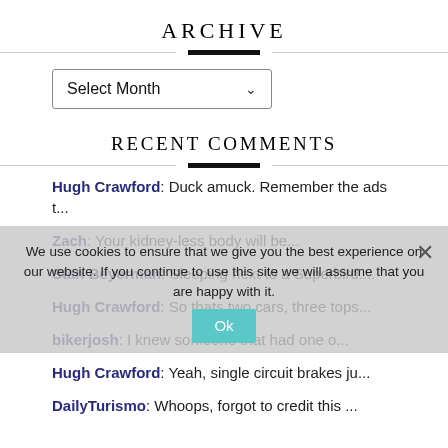ARCHIVE
Select Month
RECENT COMMENTS
Hugh Crawford: Duck amuck. Remember the ads t...
Zach: Your kidney-less body will be...
Stan Beyerman: Sleeping next to a Superbird....
Hugh Crawford: So thats two cars, three tops...
bikerjosh: I knew someone that had one o...
Hugh Crawford: Yeah, single circuit brakes ju...
DailyTurismo: Whoops, forgot to credit this ...
We use cookies to ensure that we give you the best experience on our website. If you continue to use this site we will assume that you are happy with it.